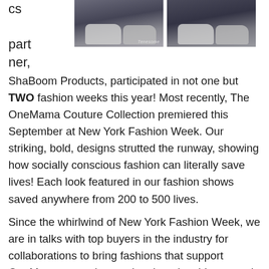[Figure (photo): Two close-up photos of shoes/feet on a runway or floor surface, side by side at the top of the page]
cs partner, ShaBoom Products, participated in not one but TWO fashion weeks this year! Most recently, The OneMama Couture Collection premiered this September at New York Fashion Week. Our striking, bold, designs strutted the runway, showing how socially conscious fashion can literally save lives! Each look featured in our fashion shows saved anywhere from 200 to 500 lives.
Since the whirlwind of New York Fashion Week, we are in talks with top buyers in the industry for collaborations to bring fashions that support OneMama.org to international markets! Interested in our new designs? Read more about The OneMama